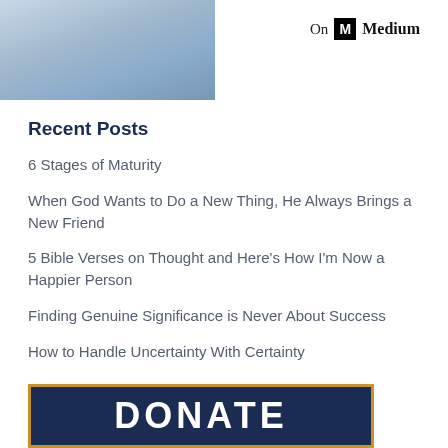[Figure (photo): Partial photo of a person wearing a light blue jacket, cropped at top of page]
On M Medium
Recent Posts
6 Stages of Maturity
When God Wants to Do a New Thing, He Always Brings a New Friend
5 Bible Verses on Thought and Here's How I'm Now a Happier Person
Finding Genuine Significance is Never About Success
How to Handle Uncertainty With Certainty
[Figure (other): DONATE button banner with dark navy background and orange border]